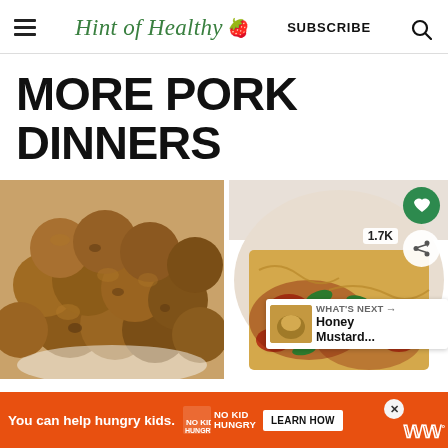Hint of Healthy 🍓  SUBSCRIBE  🔍
MORE PORK DINNERS
[Figure (photo): Close-up photo of golden-brown baked pork meatballs in a white bowl]
[Figure (photo): Photo of sausage and pasta dish with red sauce and fresh basil in a white bowl, with heart/share buttons, 1.7K count badge, and a 'What's Next: Honey Mustard...' overlay]
WHAT'S NEXT → Honey Mustard...
You can help hungry kids.  NO KID HUNGRY  LEARN HOW